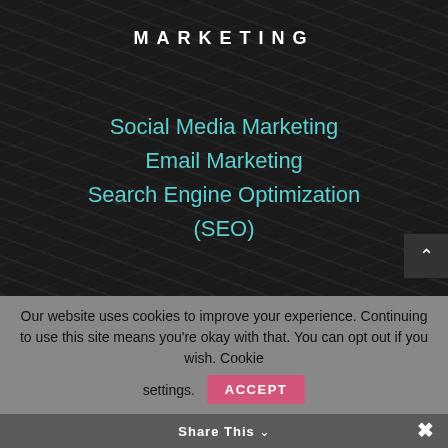MARKETING
Social Media Marketing
Email Marketing
Search Engine Optimization (SEO)
[Figure (logo): Woman-Owned Certified Swan badge/logo with script text on dark rounded rectangle background]
© 2022 BrandSwan / All rights reserved.
Our website uses cookies to improve your experience. Continuing to use this site means you're okay with that. You can opt out if you wish. Cookie settings
ACCEPT
Share This